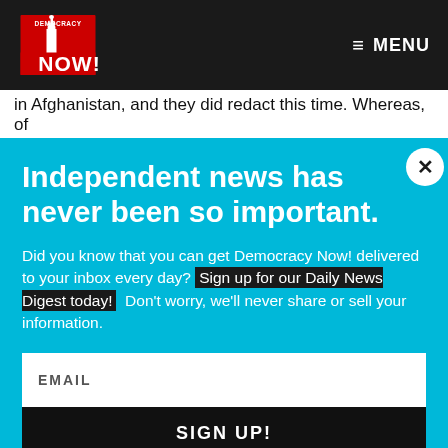Democracy Now! — MENU
in Afghanistan, and they did redact this time. Whereas, of
Independent news has never been so important.
Did you know that you can get Democracy Now! delivered to your inbox every day? Sign up for our Daily News Digest today! Don't worry, we'll never share or sell your information.
EMAIL
SIGN UP!